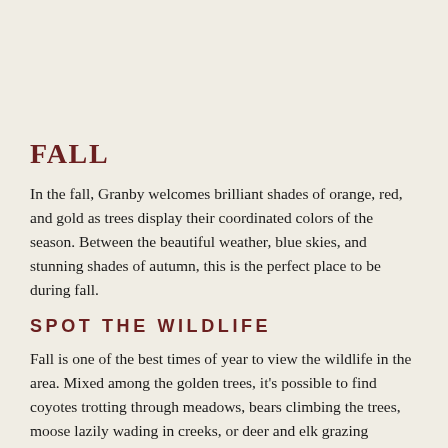FALL
In the fall, Granby welcomes brilliant shades of orange, red, and gold as trees display their coordinated colors of the season. Between the beautiful weather, blue skies, and stunning shades of autumn, this is the perfect place to be during fall.
SPOT THE WILDLIFE
Fall is one of the best times of year to view the wildlife in the area. Mixed among the golden trees, it's possible to find coyotes trotting through meadows, bears climbing the trees, moose lazily wading in creeks, or deer and elk grazing peacefully.
Perhaps one of the most magical occurrences this time of year is elk mating season. Head to the Kawunechee Valley in Rocky